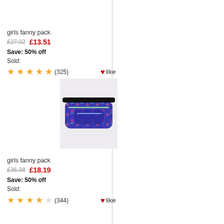girls fanny pack
£27.02  £13.51
Save: 50% off
Sold:
★★★★★ (325)  ❤like
[Figure (photo): A girls fanny pack / bum bag in blue and pink patterned fabric with a black strap and zipper]
girls fanny pack
£36.38  £18.19
Save: 50% off
Sold:
★★★★☆ (344)  ❤like